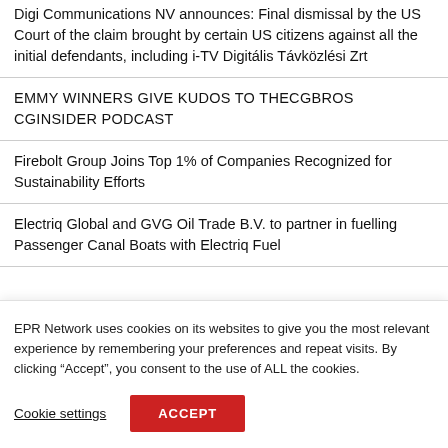Digi Communications NV announces: Final dismissal by the US Court of the claim brought by certain US citizens against all the initial defendants, including i-TV Digitális Távközlési Zrt
EMMY WINNERS GIVE KUDOS TO THECGBROS CGINSIDER PODCAST
Firebolt Group Joins Top 1% of Companies Recognized for Sustainability Efforts
Electriq Global and GVG Oil Trade B.V. to partner in fuelling Passenger Canal Boats with Electriq Fuel
EPR Network uses cookies on its websites to give you the most relevant experience by remembering your preferences and repeat visits. By clicking “Accept”, you consent to the use of ALL the cookies.
Cookie settings   ACCEPT